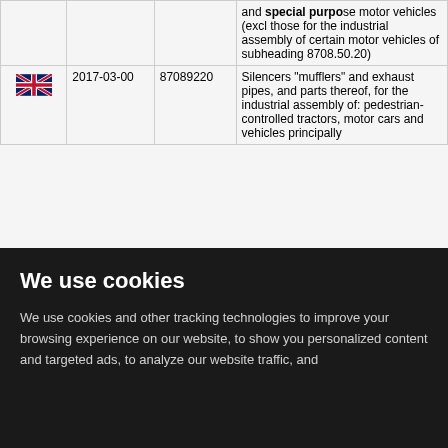| Flag | Date | Code | Description |
| --- | --- | --- | --- |
| [UK flag] |  |  | and special purpose motor vehicles (excl those for the industrial assembly of certain motor vehicles of subheading 8708.50.20) |
| [UK flag] | 2017-03-00 | 87089220 | Silencers "mufflers" and exhaust pipes, and parts thereof, for the industrial assembly of: pedestrian-controlled tractors, motor cars and vehicles principally designed for the transport of persons |
We use cookies
We use cookies and other tracking technologies to improve your browsing experience on our website, to show you personalized content and targeted ads, to analyze our website traffic, and